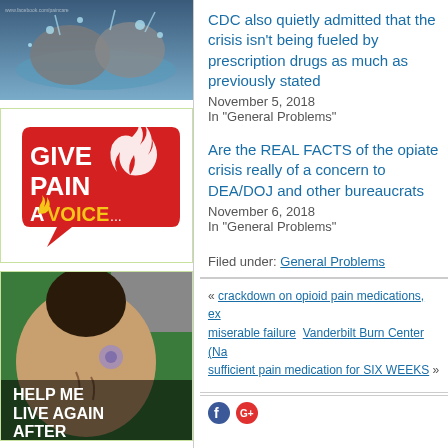[Figure (photo): Photo of elephants splashing in water]
[Figure (logo): Give Pain A Voice red speech bubble logo with flame motif]
[Figure (photo): Woman with tattoo on back, text overlay: HELP ME LIVE AGAIN AFTER]
CDC also quietly admitted that the crisis isn't being fueled by prescription drugs as much as previously stated
November 5, 2018
In "General Problems"
Are the REAL FACTS of the opiate crisis really of a concern to DEA/DOJ and other bureaucrats
November 6, 2018
In "General Problems"
Filed under: General Problems
« crackdown on opioid pain medications, ex miserable failure  Vanderbilt Burn Center (Na sufficient pain medication for SIX WEEKS »